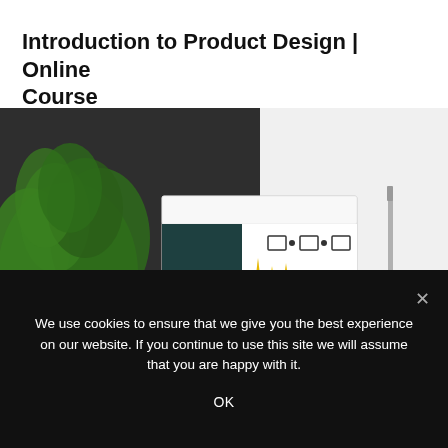Introduction to Product Design | Online Course
[Figure (photo): Course thumbnail showing a product design scene with green plant, dark background panel, white booklet/card with small geometric icons and yellow decorative objects and a white sofa, a pen, and text reading PRODUCT DESIGN]
We use cookies to ensure that we give you the best experience on our website. If you continue to use this site we will assume that you are happy with it.
OK